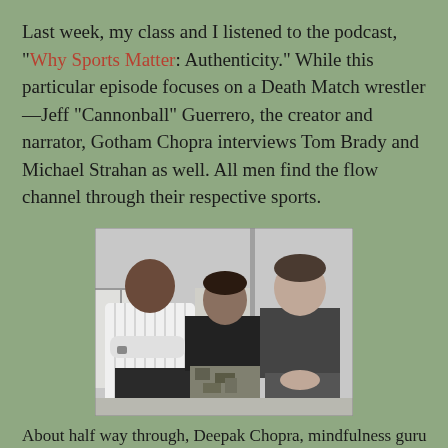Last week, my class and I listened to the podcast, "Why Sports Matter: Authenticity." While this particular episode focuses on a Death Match wrestler—Jeff "Cannonball" Guerrero, the creator and narrator, Gotham Chopra interviews Tom Brady and Michael Strahan as well. All men find the flow channel through their respective sports.
[Figure (photo): Black and white photo of three men standing together indoors. Left man is tall, Black, wearing a white striped shirt with arms crossed. Middle man wears all black with camouflage pants. Right man is tall, wearing a dark t-shirt with hands clasped in front.]
About half way through, Deepak Chopra, mindfulness guru and